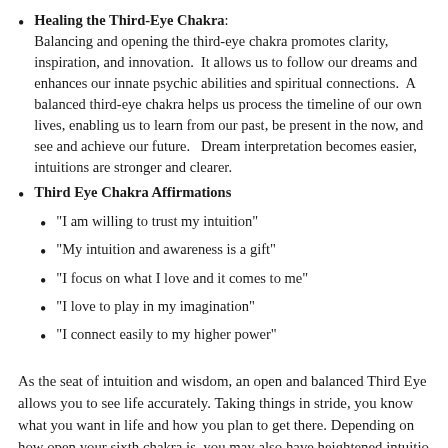Healing the Third-Eye Chakra: Balancing and opening the third-eye chakra promotes clarity, inspiration, and innovation. It allows us to follow our dreams and enhances our innate psychic abilities and spiritual connections. A balanced third-eye chakra helps us process the timeline of our own lives, enabling us to learn from our past, be present in the now, and see and achieve our future. Dream interpretation becomes easier, intuitions are stronger and clearer.
Third Eye Chakra Affirmations
"I am willing to trust my intuition"
"My intuition and awareness is a gift"
"I focus on what I love and it comes to me"
"I love to play in my imagination"
"I connect easily to my higher power"
As the seat of intuition and wisdom, an open and balanced Third Eye allows you to see life accurately. Taking things in stride, you know what you want in life and how you plan to get there. Depending on how open your sixth chakra is, you may also have heightened intuitio